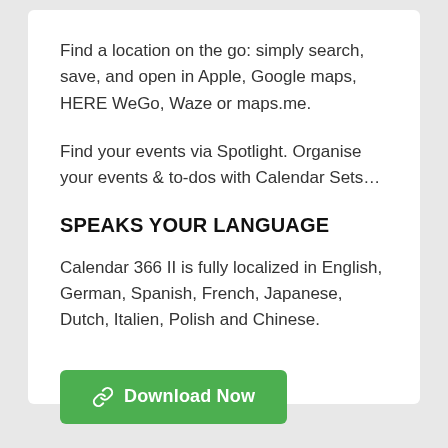Find a location on the go: simply search, save, and open in Apple, Google maps, HERE WeGo, Waze or maps.me.
Find your events via Spotlight. Organise your events & to-dos with Calendar Sets…
SPEAKS YOUR LANGUAGE
Calendar 366 II is fully localized in English, German, Spanish, French, Japanese, Dutch, Italien, Polish and Chinese.
[Figure (other): Green download button with link icon and text 'Download Now']